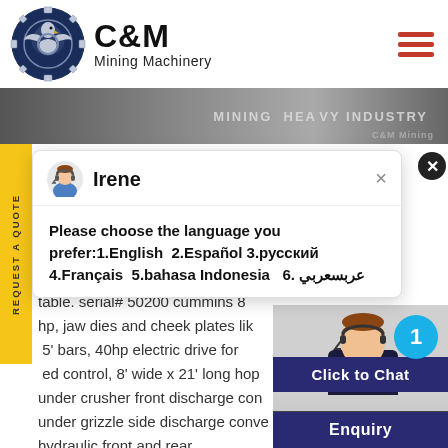[Figure (logo): C&M Mining Machinery logo — circular gear/eagle emblem in dark navy blue, beside bold C&M text and 'Mining Machinery' subtitle]
[Figure (photo): Banner image showing mining heavy industry scene with text overlay 'MINING HEAVY INDUSTRY' and C&M logo]
[Figure (screenshot): Chat popup window with avatar of Irene (customer support agent), message asking user to choose language: 1.English 2.Español 3.русский 4.Français 5.bahasa Indonesia 6. عربسعربي]
table. serial# 50200 cummins 8
hp, jaw dies and cheek plates lik
5' bars, 40hp electric drive for
ed control, 8' wide x 21' long hop
under crusher front discharge con
under grizzle side discharge conve
hydraulic front and rear
[Figure (photo): Customer service representative (woman with headset) with teal badge showing '1', plus 'Click to Chat' and 'Enquiry' buttons]